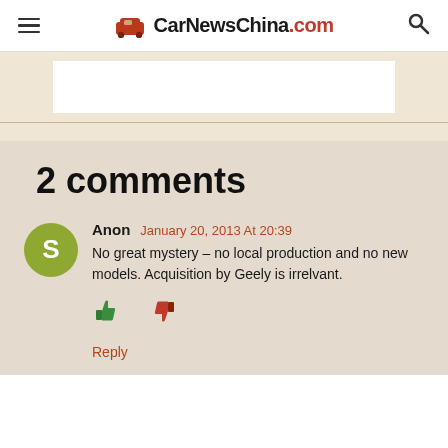CarNewsChina.com
[Figure (screenshot): Advertisement placeholder area with white box on tan background]
2 comments
Anon January 20, 2013 At 20:39
No great mystery – no local production and no new models. Acquisition by Geely is irrelvant.
Reply